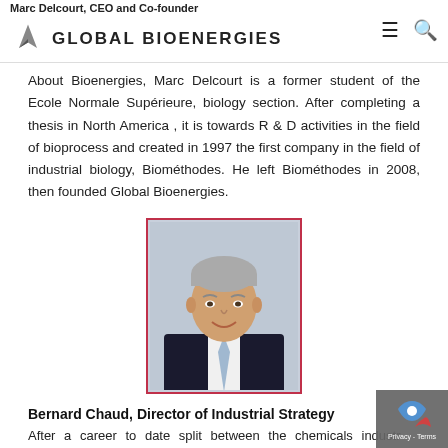Marc Delcourt, CEO and Co-founder — Global Bioenergies
About Bioenergies, Marc Delcourt is a former student of the Ecole Normale Supérieure, biology section. After completing a thesis in North America , it is towards R & D activities in the field of bioprocess and created in 1997 the first company in the field of industrial biology, Biométhodes. He left Biométhodes in 2008, then founded Global Bioenergies.
[Figure (photo): Portrait photo of a middle-aged man with grey hair wearing a dark suit and light blue tie, smiling, with a light blue/grey background.]
Bernard Chaud, Director of Industrial Strategy
After a career to date split between the chemicals industry (manager), the sugar industry (director of biofuels) and the ADEME